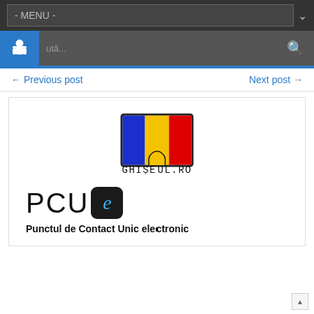- MENU -
← Previous post    Next post →
[Figure (logo): GHIȘEUL.RO logo with Romanian flag (blue, yellow, red stripes) and stylized house arch, with text GHIȘEUL.RO below]
[Figure (logo): PCUe logo: large letters PCU followed by a dark rounded square containing a blue italic letter e, with subtitle 'Punctul de Contact Unic electronic']